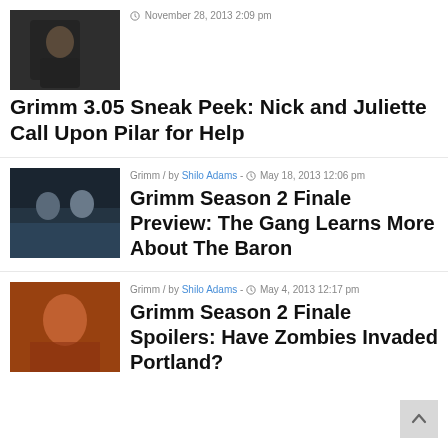[Figure (photo): TV show still: man in dark jacket]
November 28, 2013 2:09 pm
Grimm 3.05 Sneak Peek: Nick and Juliette Call Upon Pilar for Help
[Figure (photo): TV show still: two men in a hallway]
Grimm / by Shilo Adams - May 18, 2013 12:06 pm
Grimm Season 2 Finale Preview: The Gang Learns More About The Baron
[Figure (photo): TV show still: woman with auburn hair]
Grimm / by Shilo Adams - May 4, 2013 12:17 pm
Grimm Season 2 Finale Spoilers: Have Zombies Invaded Portland?